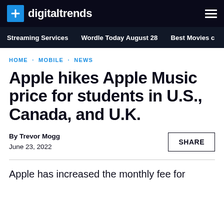digitaltrends
Streaming Services · Wordle Today August 28 · Best Movies c
HOME · MOBILE · NEWS
Apple hikes Apple Music price for students in U.S., Canada, and U.K.
By Trevor Mogg
June 23, 2022
Apple has increased the monthly fee for